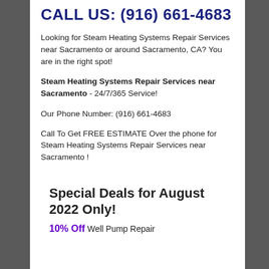CALL US: (916) 661-4683
Looking for Steam Heating Systems Repair Services near Sacramento or around Sacramento, CA? You are in the right spot!
Steam Heating Systems Repair Services near Sacramento - 24/7/365 Service!
Our Phone Number: (916) 661-4683
Call To Get FREE ESTIMATE Over the phone for Steam Heating Systems Repair Services near Sacramento !
Special Deals for August 2022 Only!
10% Off Well Pump Repair